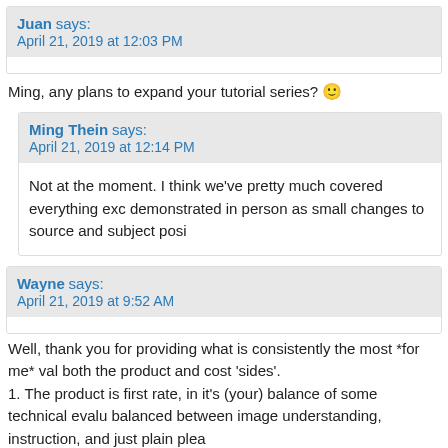Juan says: April 21, 2019 at 12:03 PM
Ming, any plans to expand your tutorial series? 🙂
Ming Thein says: April 21, 2019 at 12:14 PM
Not at the moment. I think we've pretty much covered everything exc demonstrated in person as small changes to source and subject posi
Wayne says: April 21, 2019 at 9:52 AM
Well, thank you for providing what is consistently the most *for me* val both the product and cost 'sides'.
1. The product is first rate, in it's (your) balance of some technical evalu balanced between image understanding, instruction, and just plain plea